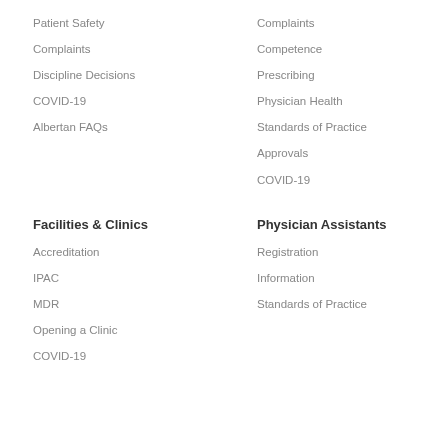Patient Safety
Complaints
Discipline Decisions
COVID-19
Albertan FAQs
Complaints
Competence
Prescribing
Physician Health
Standards of Practice
Approvals
COVID-19
Facilities & Clinics
Physician Assistants
Accreditation
Registration
IPAC
Information
MDR
Standards of Practice
Opening a Clinic
COVID-19